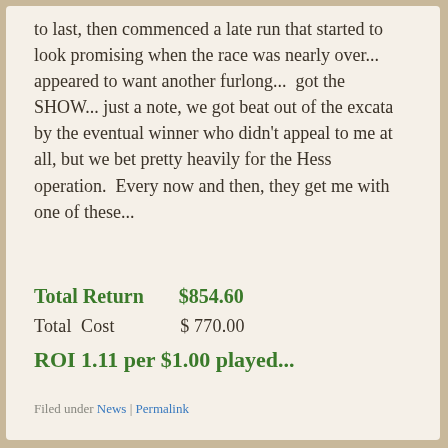to last, then commenced a late run that started to look promising when the race was nearly over... appeared to want another furlong...  got the SHOW... just a note, we got beat out of the excata by the eventual winner who didn't appeal to me at all, but we bet pretty heavily for the Hess operation.  Every now and then, they get me with one of these...
Total Return      $854.60
Total  Cost             $ 770.00
ROI 1.11 per $1.00 played...
Filed under News | Permalink